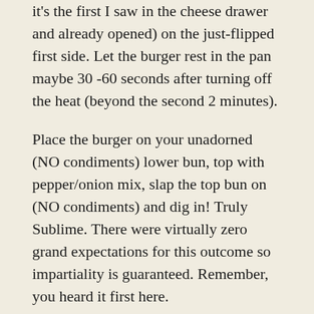it's the first I saw in the cheese drawer and already opened) on the just-flipped first side. Let the burger rest in the pan maybe 30 -60 seconds after turning off the heat (beyond the second 2 minutes).
Place the burger on your unadorned (NO condiments) lower bun, top with pepper/onion mix, slap the top bun on (NO condiments) and dig in! Truly Sublime. There were virtually zero grand expectations for this outcome so impartiality is guaranteed. Remember, you heard it first here.
Oh, the timing of this whole process works out really well for prepping homemade fries cut from a single longish unpeeled russet potato. Simply handcut the fries with a 8 inch+ chefs knife and begin heating for a 5 minute parboil at the point you first flip the peppers in the skillet. Drain and begin pan-fry in a separate skillet